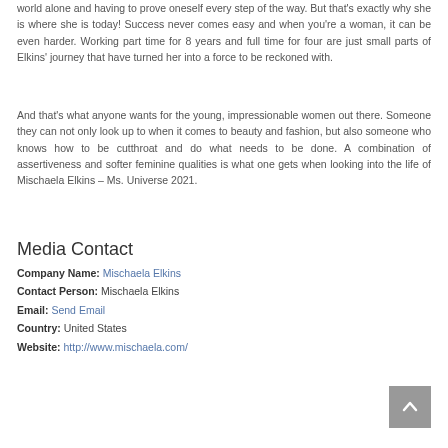world alone and having to prove oneself every step of the way. But that's exactly why she is where she is today! Success never comes easy and when you're a woman, it can be even harder. Working part time for 8 years and full time for four are just small parts of Elkins' journey that have turned her into a force to be reckoned with.
And that's what anyone wants for the young, impressionable women out there. Someone they can not only look up to when it comes to beauty and fashion, but also someone who knows how to be cutthroat and do what needs to be done. A combination of assertiveness and softer feminine qualities is what one gets when looking into the life of Mischaela Elkins – Ms. Universe 2021.
Media Contact
Company Name: Mischaela Elkins
Contact Person: Mischaela Elkins
Email: Send Email
Country: United States
Website: http://www.mischaela.com/